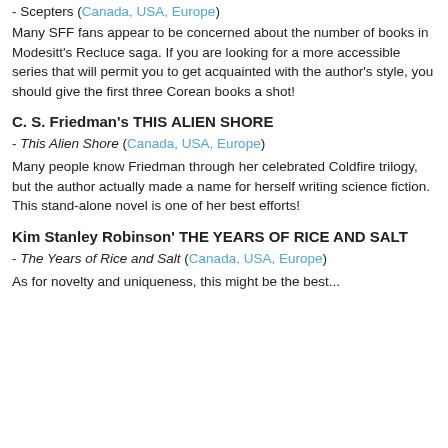- Scepters (Canada, USA, Europe)
Many SFF fans appear to be concerned about the number of books in Modesitt's Recluce saga. If you are looking for a more accessible series that will permit you to get acquainted with the author's style, you should give the first three Corean books a shot!
C. S. Friedman's THIS ALIEN SHORE
- This Alien Shore (Canada, USA, Europe)
Many people know Friedman through her celebrated Coldfire trilogy, but the author actually made a name for herself writing science fiction. This stand-alone novel is one of her best efforts!
Kim Stanley Robinson' THE YEARS OF RICE AND SALT
- The Years of Rice and Salt (Canada, USA, Europe)
As for novelty and uniqueness, this might be the best...